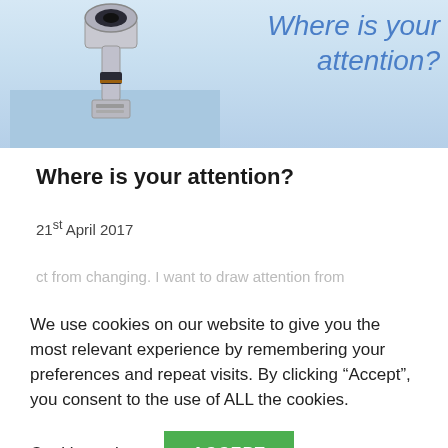[Figure (photo): Hero image showing a coin-operated telescope/binocular viewer against a seascape background, with handwritten blue text 'Where is your attention?' overlaid on the right side]
Where is your attention?
21st April 2017
We use cookies on our website to give you the most relevant experience by remembering your preferences and repeat visits. By clicking “Accept”, you consent to the use of ALL the cookies.
Cookie settings   ACCEPT